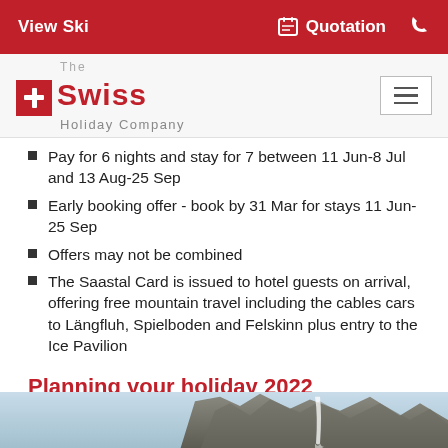View Ski   Quotation
[Figure (logo): The Swiss Holiday Company logo with red cross icon]
Pay for 6 nights and stay for 7 between 11 Jun-8 Jul and 13 Aug-25 Sep
Early booking offer - book by 31 Mar for stays 11 Jun-25 Sep
Offers may not be combined
The Saastal Card is issued to hotel guests on arrival, offering free mountain travel including the cables cars to Längfluh, Spielboden and Felskinn plus entry to the Ice Pavilion
Planning your holiday 2022
[Figure (photo): Mountain waterfall and rocky cliff landscape]